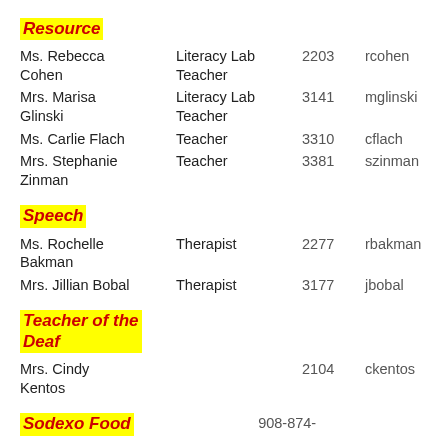Resource
| Name | Role | Ext | Username |
| --- | --- | --- | --- |
| Ms. Rebecca Cohen | Literacy Lab Teacher | 2203 | rcohen |
| Mrs. Marisa Glinski | Literacy Lab Teacher | 3141 | mglinski |
| Ms. Carlie Flach | Teacher | 3310 | cflach |
| Mrs. Stephanie Zinman | Teacher | 3381 | szinman |
Speech
| Name | Role | Ext | Username |
| --- | --- | --- | --- |
| Ms. Rochelle Bakman | Therapist | 2277 | rbakman |
| Mrs. Jillian Bobal | Therapist | 3177 | jbobal |
Teacher of the Deaf
| Name | Role | Ext | Username |
| --- | --- | --- | --- |
| Mrs. Cindy Kentos |  | 2104 | ckentos |
Sodexo Food
908-874-